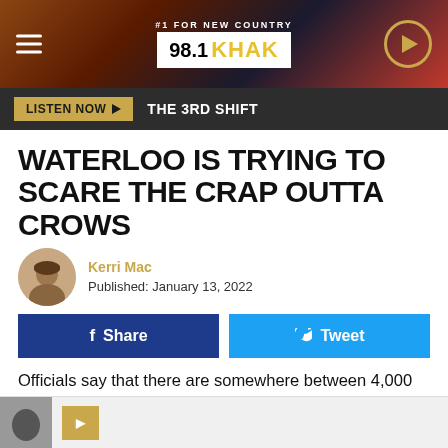[Figure (logo): 98.1 KHAK radio station logo banner with hamburger menu and play button]
LISTEN NOW ▶  THE 3RD SHIFT
WATERLOO IS TRYING TO SCARE THE CRAP OUTTA CROWS
Kerri Mac
Published: January 13, 2022
f Share   🐦 Tweet
Officials say that there are somewhere between 4,000 and 5,000 crows that have made Downtown Waterloo their home. City officials are tired of the plethora of crow droppings that these pests leave behind.